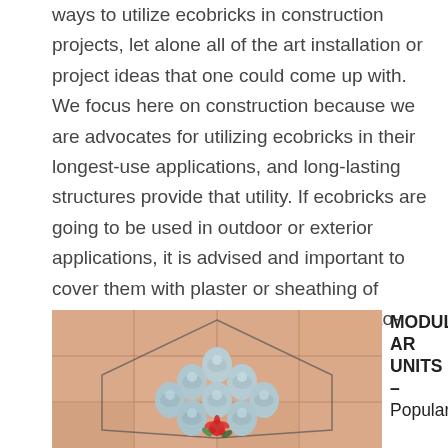ways to utilize ecobricks in construction projects, let alone all of the art installation or project ideas that one could come up with. We focus here on construction because we are advocates for utilizing ecobricks in their longest-use applications, and long-lasting structures provide that utility. If ecobricks are going to be used in outdoor or exterior applications, it is advised and important to cover them with plaster or sheathing of some sort to prevent UV light from photo-degrading them.
[Figure (photo): Aerial view of ecobricks arranged in a hexagonal pattern on tiled floor with red flower decoration in center]
MODULAR UNITS – Populari